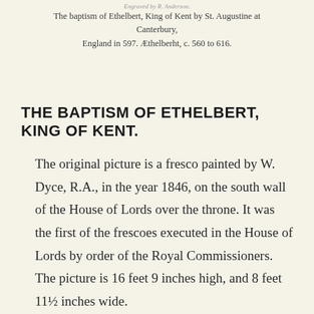The baptism of Ethelbert, King of Kent by St. Augustine at Canterbury, England in 597. Æthelberht, c. 560 to 616.
THE BAPTISM OF ETHELBERT, KING OF KENT.
The original picture is a fresco painted by W. Dyce, R.A., in the year 1846, on the south wall of the House of Lords over the throne. It was the first of the frescoes executed in the House of Lords by order of the Royal Commissioners. The picture is 16 feet 9 inches high, and 8 feet 11½ inches wide.